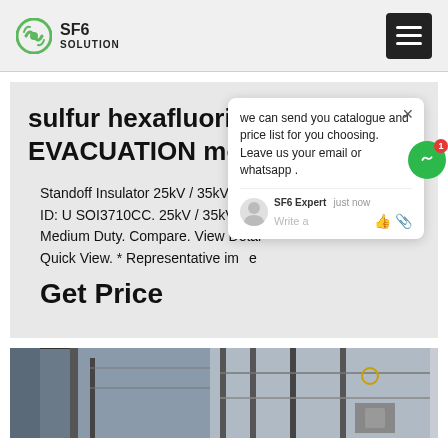SF6 SOLUTION
sulfur hexafluoride EVACUATION monitor prices
Standoff Insulator 25kV / 35kV. By P... ID: U SOI3710CC. 25kV / 35kV Sta... Medium Duty. Compare. View Detai... Quick View. * Representative im...e
Get Price
[Figure (screenshot): Chat popup with message: we can send you catalogue and price list for you choosing. Leave us your email or whatsapp. SF6 Expert just now. Write a message input.]
[Figure (photo): Two industrial/electrical infrastructure photos at the bottom of the page]